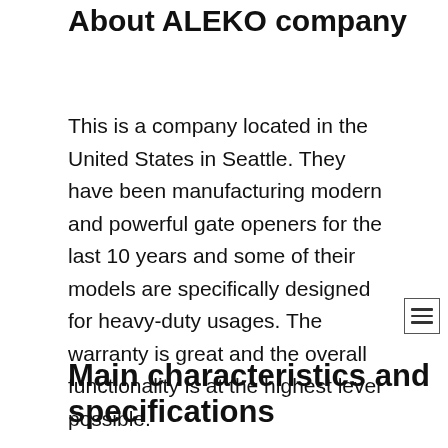About ALEKO company
This is a company located in the United States in Seattle. They have been manufacturing modern and powerful gate openers for the last 10 years and some of their models are specifically designed for heavy-duty usages. The warranty is great and the overall functionality is at the highest level possible.
Main characteristics and specifications